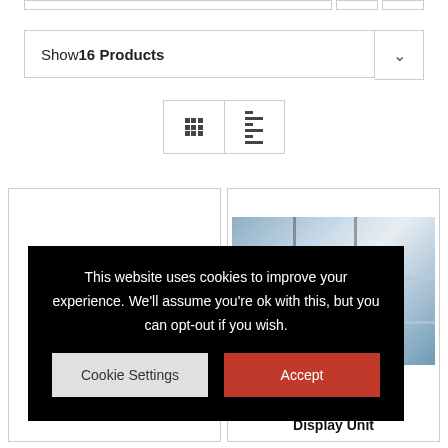Show 16 Products
[Figure (screenshot): View toggle buttons: grid view and list view]
[Figure (photo): Display unit product card with glass shelving unit photo]
Display Unit
This website uses cookies to improve your experience. We'll assume you're ok with this, but you can opt-out if you wish.
Cookie Settings
Accept